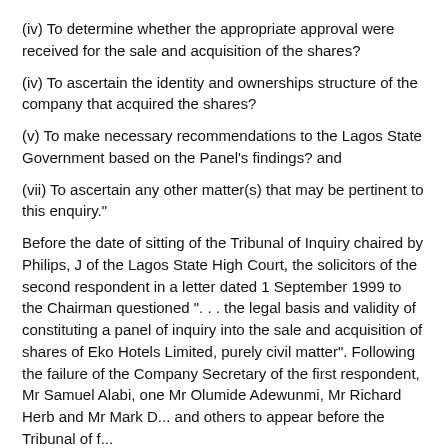(iv) To determine whether the appropriate approval were received for the sale and acquisition of the shares?
(iv) To ascertain the identity and ownerships structure of the company that acquired the shares?
(v) To make necessary recommendations to the Lagos State Government based on the Panel's findings? and
(vii) To ascertain any other matter(s) that may be pertinent to this enquiry."
Before the date of sitting of the Tribunal of Inquiry chaired by Philips, J of the Lagos State High Court, the solicitors of the second respondent in a letter dated 1 September 1999 to the Chairman questioned ". . . the legal basis and validity of constituting a panel of inquiry into the sale and acquisition of shares of Eko Hotels Limited, purely civil matter". Following the failure of the Company Secretary of the first respondent, Mr Samuel Alabi, one Mr Olumide Adewunmi, Mr Richard Herb and Mr Mark D... and others to appear before the Tribunal of f...